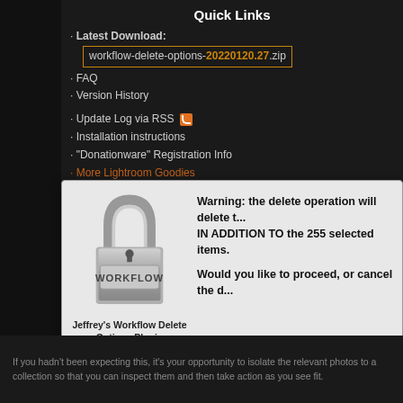Quick Links
Latest Download: workflow-delete-options-20220120.27.zip
FAQ
Version History
Update Log via RSS
Installation instructions
"Donationware" Registration Info
More Lightroom Goodies
All-Plugin Update Log via RSS
My Photo-Tech Posts
My Blog
[Figure (screenshot): Dialog box with a padlock icon labeled WORKFLOW, warning text about delete operation on 255 selected items, and three buttons: Allow Delete to Proceed, Cancel Delete Operation, Isolate Rele...]
Jeffrey's Workflow Delete Options Plugin
plugin's home page
Warning: the delete operation will delete t... IN ADDITION TO the 255 selected items. Would you like to proceed, or cancel the d...
Allow Delete to Proceed
Cancel Delete Operation
Isolate Rele...
If you hadn't been expecting this, it's your opportunity to isolate the relevant photos to a collection so that you can inspect them and then take action as you see fit.